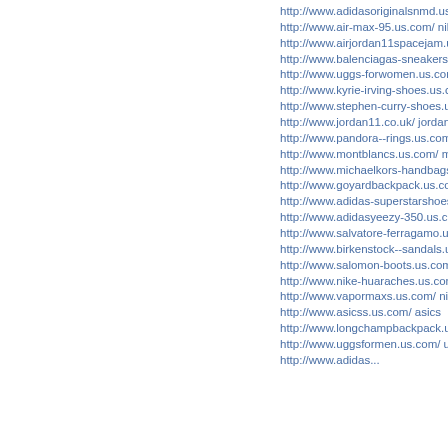http://www.adidasoriginalsnmd.us.com/ adida
http://www.air-max-95.us.com/ nike air max 9
http://www.airjordan11spacejam.us.com/ air jo
http://www.balenciagas-sneakers.us.com/ bale
http://www.uggs-forwomen.us.com/ uggs on s
http://www.kyrie-irving-shoes.us.com/ kyrie 4
http://www.stephen-curry-shoes.us.com/ steph
http://www.jordan11.co.uk/ jordan 11
http://www.pandora--rings.us.com/ Pandora Je
http://www.montblancs.us.com/ mont blanc o
http://www.michaelkors-handbagss.us.com/ m
http://www.goyardbackpack.us.com/ goyard b
http://www.adidas-superstarshoes.us.com/ adi
http://www.adidasyeezy-350.us.com/ yeezy sh
http://www.salvatore-ferragamo.us.com/ salva
http://www.birkenstock--sandals.us.com/ birke
http://www.salomon-boots.us.com/ salomon s
http://www.nike-huaraches.us.com/ nike air hu
http://www.vapormaxs.us.com/ nike air vapor
http://www.asicss.us.com/ asics
http://www.longchampbackpack.us.com/ long
http://www.uggsformen.us.com/ ugg boots
http://www.adidas...